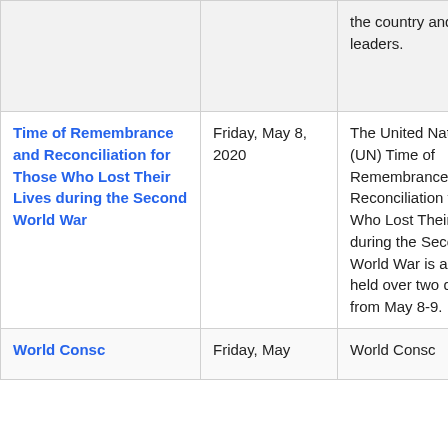| Holiday/Observance | Date | Description |
| --- | --- | --- |
|  |  | the country and its leaders. |
| Time of Remembrance and Reconciliation for Those Who Lost Their Lives during the Second World War | Friday, May 8, 2020 | The United Nations' (UN) Time of Remembrance and Reconciliation for Those Who Lost Their Lives during the Second World War is annually held over two days, from May 8-9. |
| World Consc... | Friday, May ... | World Consc... |